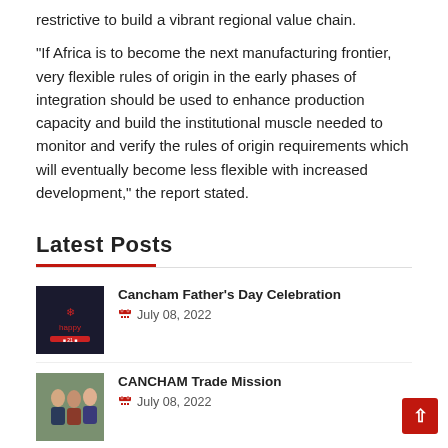restrictive to build a vibrant regional value chain.
“If Africa is to become the next manufacturing frontier, very flexible rules of origin in the early phases of integration should be used to enhance production capacity and build the institutional muscle needed to monitor and verify the rules of origin requirements which will eventually become less flexible with increased development,” the report stated.
Latest Posts
[Figure (photo): Thumbnail image for Cancham Father's Day Celebration post - dark background with decorative text]
Cancham Father's Day Celebration
July 08, 2022
[Figure (photo): Thumbnail image for CANCHAM Trade Mission post - group of people]
CANCHAM Trade Mission
July 08, 2022
[Figure (photo): Thumbnail image for Hollard, Melcom extends partnership post - woman portrait]
Hollard, Melcom extends partnership to improve insurance accessibility